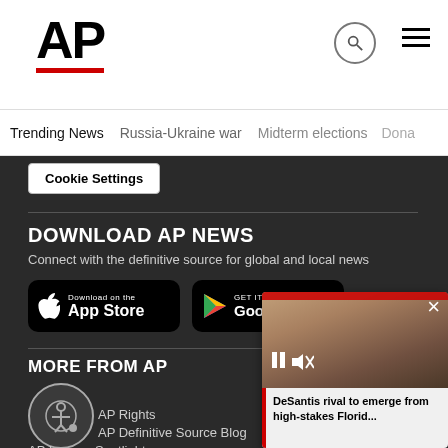AP
Trending News | Russia-Ukraine war | Midterm elections | Dona
Cookie Settings
DOWNLOAD AP NEWS
Connect with the definitive source for global and local news
[Figure (screenshot): Download on the App Store button (black rounded rectangle with Apple logo)]
[Figure (screenshot): GET IT ON Google Play button (black rounded rectangle with Google Play logo)]
MORE FROM AP
[Figure (illustration): Accessibility icon (person in circle)]
AP Rights
AP Definitive Source Blog
AP Images Spotlight
[Figure (screenshot): Video overlay showing a woman's face with headline: DeSantis rival to emerge from high-stakes Florid...]